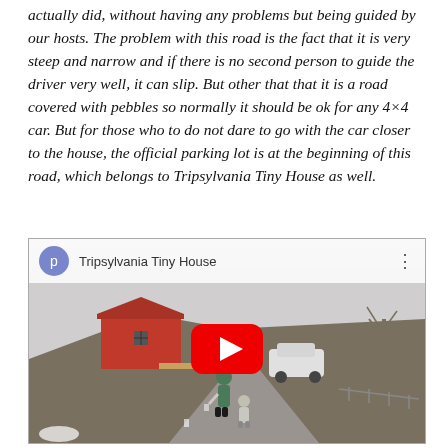actually did, without having any problems but being guided by our hosts. The problem with this road is the fact that it is very steep and narrow and if there is no second person to guide the driver very well, it can slip. But other that that it is a road covered with pebbles so normally it should be ok for any 4×4 car. But for those who to do not dare to go with the car closer to the house, the official parking lot is at the beginning of this road, which belongs to Tripsylvania Tiny House as well.
[Figure (screenshot): YouTube video embed thumbnail showing a woman and child walking on a gravel road toward a red tiny house on a hill, with a car parked nearby and bare trees in the background. The video title is 'Tripsylvania Tiny House' with a YouTube play button overlay.]